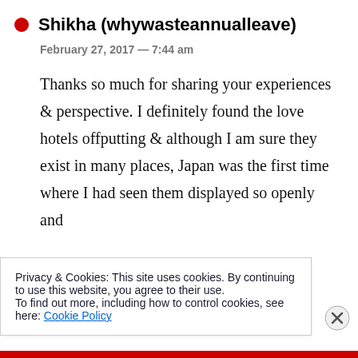Shikha (whywasteannualleave)
February 27, 2017 — 7:44 am
Thanks so much for sharing your experiences & perspective. I definitely found the love hotels offputting & although I am sure they exist in many places, Japan was the first time where I had seen them displayed so openly and
Privacy & Cookies: This site uses cookies. By continuing to use this website, you agree to their use.
To find out more, including how to control cookies, see here: Cookie Policy
Close and accept